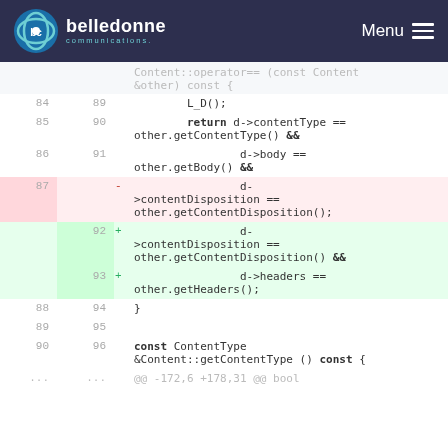belledonne communications — Menu
[Figure (screenshot): Code diff view showing changes to Content::operator== function, with lines 84-90 as context and lines 87 removed (red) and 92-93 added (green), including new d->headers == other.getHeaders() line]